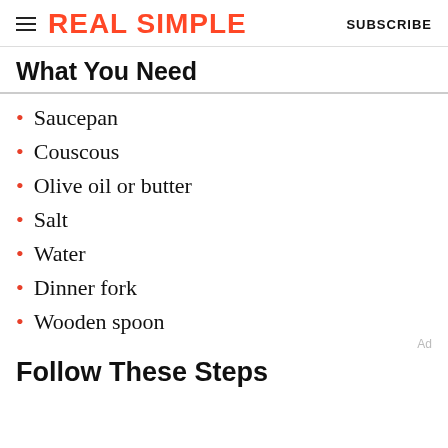REAL SIMPLE  SUBSCRIBE
What You Need
Saucepan
Couscous
Olive oil or butter
Salt
Water
Dinner fork
Wooden spoon
Follow These Steps